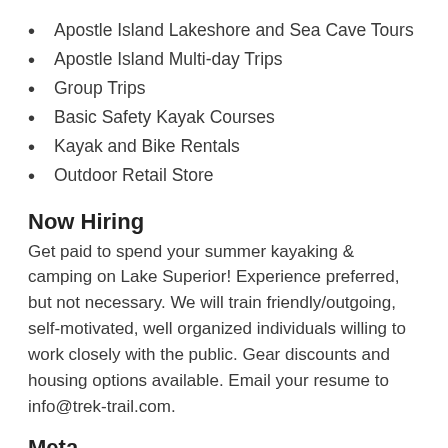Apostle Island Lakeshore and Sea Cave Tours
Apostle Island Multi-day Trips
Group Trips
Basic Safety Kayak Courses
Kayak and Bike Rentals
Outdoor Retail Store
Now Hiring
Get paid to spend your summer kayaking & camping on Lake Superior! Experience preferred, but not necessary. We will train friendly/outgoing, self-motivated, well organized individuals willing to work closely with the public. Gear discounts and housing options available. Email your resume to info@trek-trail.com.
Meta